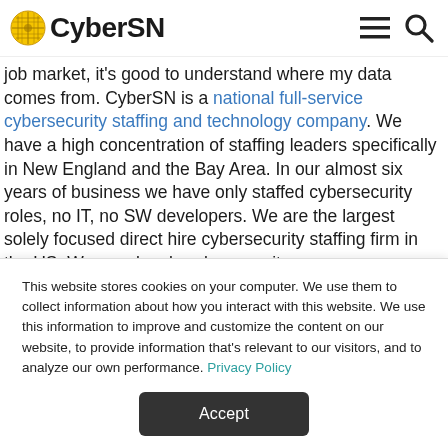CyberSN
job market, it's good to understand where my data comes from. CyberSN is a national full-service cybersecurity staffing and technology company. We have a high concentration of staffing leaders specifically in New England and the Bay Area. In our almost six years of business we have only staffed cybersecurity roles, no IT, no SW developers. We are the largest solely focused direct hire cybersecurity staffing firm in the US. We speak only cybersecurity.
Over the last four weeks myself and the entire CyberSN team
This website stores cookies on your computer. We use them to collect information about how you interact with this website. We use this information to improve and customize the content on our website, to provide information that's relevant to our visitors, and to analyze our own performance. Privacy Policy